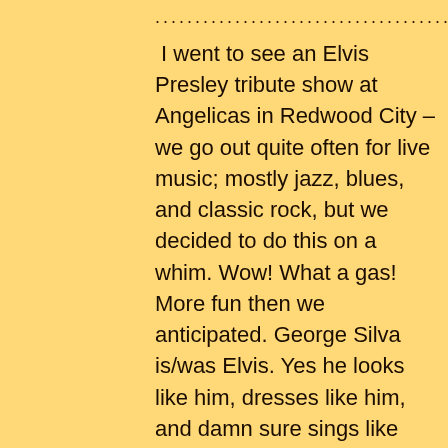............................................
I went to see an Elvis Presley tribute show at Angelicas in Redwood City – we go out quite often for live music; mostly jazz, blues, and classic rock, but we decided to do this on a whim. Wow! What a gas! More fun then we anticipated. George Silva is/was Elvis. Yes he looks like him, dresses like him, and damn sure sings like him! More then once Pat and I looked at each other in amazement at how much he nailed it. Besides that, the consummate entertainer, made his way to every table, took pictures with anyone who wanted – even while he was singing! A very, very fun night. Will